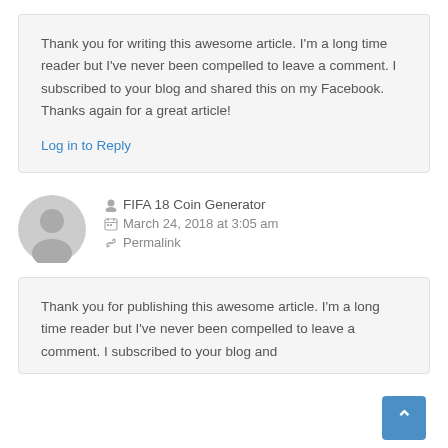Thank you for writing this awesome article. I'm a long time reader but I've never been compelled to leave a comment. I subscribed to your blog and shared this on my Facebook. Thanks again for a great article!
Log in to Reply
FIFA 18 Coin Generator
March 24, 2018 at 3:05 am
Permalink
Thank you for publishing this awesome article. I'm a long time reader but I've never been compelled to leave a comment. I subscribed to your blog and